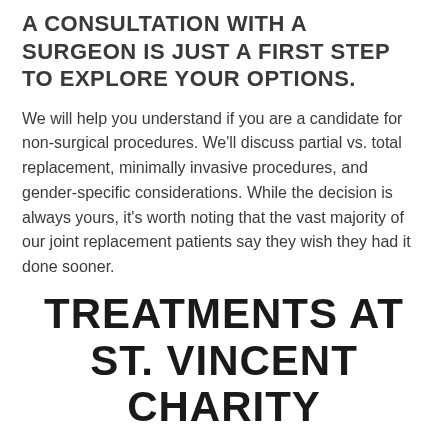A CONSULTATION WITH A SURGEON IS JUST A FIRST STEP TO EXPLORE YOUR OPTIONS.
We will help you understand if you are a candidate for non-surgical procedures. We'll discuss partial vs. total replacement, minimally invasive procedures, and gender-specific considerations. While the decision is always yours, it's worth noting that the vast majority of our joint replacement patients say they wish they had it done sooner.
TREATMENTS AT ST. VINCENT CHARITY